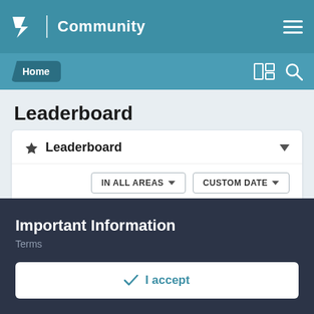Community
Home
Leaderboard
🏆 Leaderboard
IN ALL AREAS ▾   CUSTOM DATE ▾
[Figure (screenshot): Partial user profile photo visible at bottom of leaderboard card]
Important Information
Terms
✓  I accept